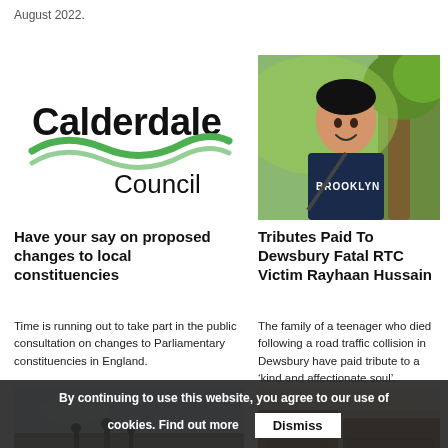August 2022.
[Figure (logo): Calderdale Council logo with green wave beneath the word 'Calderdale' and 'Council' in smaller text]
[Figure (photo): Young man in a navy Brooklyn t-shirt standing near a tree with greenery in background]
Have your say on proposed changes to local constituencies
Time is running out to take part in the public consultation on changes to Parliamentary constituencies in England.
Tributes Paid To Dewsbury Fatal RTC Victim Rayhaan Hussain
The family of a teenager who died following a road traffic collision in Dewsbury have paid tribute to a ‘kind and affectionate soul’.
[Figure (photo): People outdoors with a hazy sky in the background]
[Figure (photo): Interior room with brown wooden furniture/seating]
By continuing to use this website, you agree to our use of cookies. Find out more  Dismiss